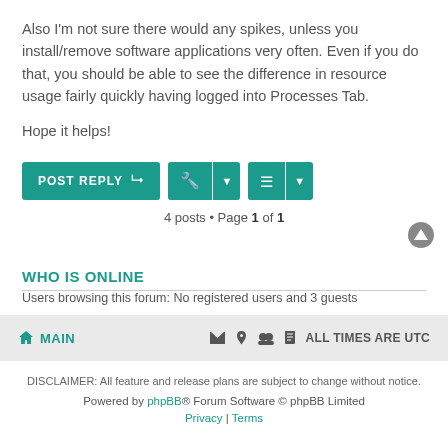Also I'm not sure there would any spikes, unless you install/remove software applications very often. Even if you do that, you should be able to see the difference in resource usage fairly quickly having logged into Processes Tab.
Hope it helps!
4 posts • Page 1 of 1
WHO IS ONLINE
Users browsing this forum: No registered users and 3 guests
MAIN | ALL TIMES ARE UTC
DISCLAIMER: All feature and release plans are subject to change without notice.
Powered by phpBB® Forum Software © phpBB Limited
Privacy | Terms